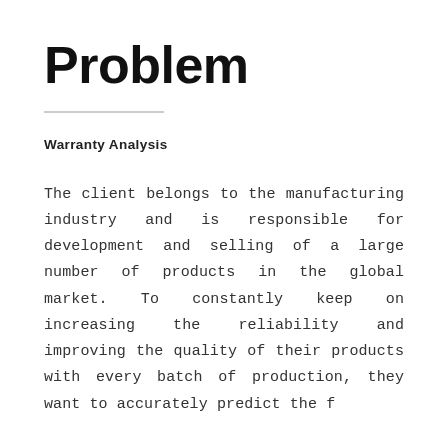Problem
Warranty Analysis
The client belongs to the manufacturing industry and is responsible for development and selling of a large number of products in the global market. To constantly keep on increasing the reliability and improving the quality of their products with every batch of production, they want to accurately predict the f...